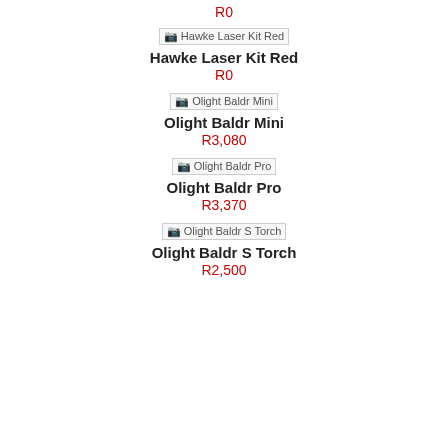R0
[Figure (other): Broken image placeholder for Hawke Laser Kit Red]
Hawke Laser Kit Red
R0
[Figure (other): Broken image placeholder for Olight Baldr Mini]
Olight Baldr Mini
R3,080
[Figure (other): Broken image placeholder for Olight Baldr Pro]
Olight Baldr Pro
R3,370
[Figure (other): Broken image placeholder for Olight Baldr S Torch]
Olight Baldr S Torch
R2,500